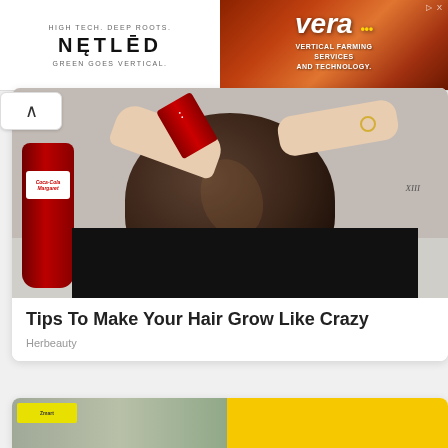[Figure (advertisement): Netled advertisement: HIGH TECH. DEEP ROOTS. NETLED GREEN GOES VERTICAL.]
[Figure (advertisement): Vera vertical farming services and technology advertisement with colorful background]
[Figure (photo): Person washing hair with Coca-Cola into a glass bowl, Coca-Cola bottle on the left, person bending over with dark hair, tattoo visible on right arm]
Tips To Make Your Hair Grow Like Crazy
Herbeauty
[Figure (photo): Partial view of bottom card showing a mall or shopping center photo on the left and yellow background on the right]